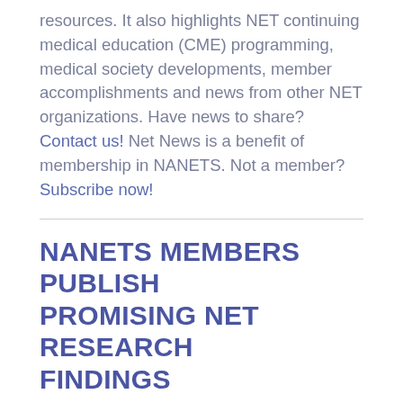resources. It also highlights NET continuing medical education (CME) programming, medical society developments, member accomplishments and news from other NET organizations. Have news to share? Contact us! Net News is a benefit of membership in NANETS. Not a member? Subscribe now!
NANETS MEMBERS PUBLISH PROMISING NET RESEARCH FINDINGS
NANETS Members Co-Author Promising NET Research Findings